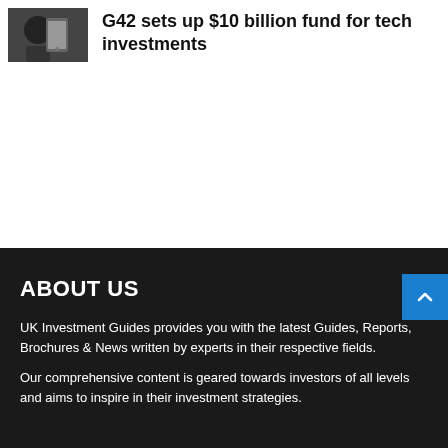[Figure (photo): Thumbnail photo of a person using a smartphone/technology device]
G42 sets up $10 billion fund for tech investments
ABOUT US
UK Investment Guides provides you with the latest Guides, Reports, Brochures & News written by experts in their respective fields.
Our comprehensive content is geared towards investors of all levels and aims to inspire in their investment strategies.